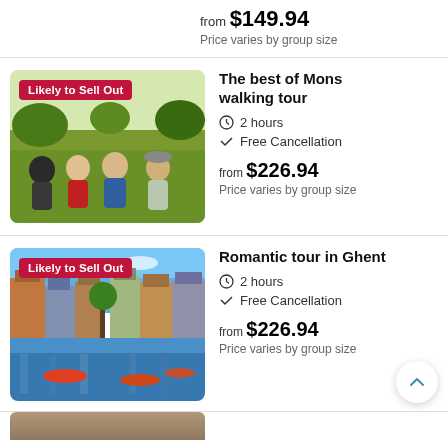from $149.94
Price varies by group size
[Figure (photo): Group of four young people sitting on grass smiling, with 'Likely to Sell Out' badge overlay]
The best of Mons walking tour
2 hours
Free Cancellation
from $226.94
Price varies by group size
[Figure (photo): Canal in Ghent with colorful historic buildings and boats, with 'Likely to Sell Out' badge overlay]
Romantic tour in Ghent
2 hours
Free Cancellation
from $226.94
Price varies by group size